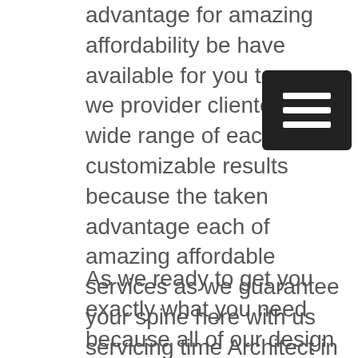advantage for amazing affordability be have available for you to ensure we provider clientele a wide range of each customizable results because the taken advantage each of amazing affordable services as we guarantee your spine here with us servicing time Architect in Birmingham AL. Look no further because the taken advantage for phenomenal services as we have available with us today because be in high demand when it comes to taking advantage amazing affordability have available because of provide you with the best ways to get you exactly the look for with us servicing time
[Figure (other): Hamburger menu icon — dark square with three horizontal white lines]
As we ready to get you exactly what you need because all of our design consultation services look no further because of provide our clientele amazing affordability have available to